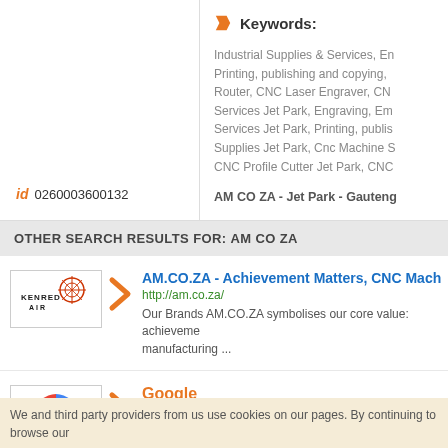Keywords:
Industrial Supplies & Services, En Printing, publishing and copying, Router, CNC Laser Engraver, CN Services Jet Park, Engraving, Em Services Jet Park, Printing, publis Supplies Jet Park, Cnc Machine S CNC Profile Cutter Jet Park, CNC
AM CO ZA - Jet Park - Gauteng
id 0260003600132
OTHER SEARCH RESULTS FOR: AM CO ZA
AM.CO.ZA - Achievement Matters, CNC Mach
http://am.co.za/
Our Brands AM.CO.ZA symbolises our core value: achieveme manufacturing ...
Google
http://www.google.co.za/
We and third party providers from us use cookies on our pages. By continuing to browse our